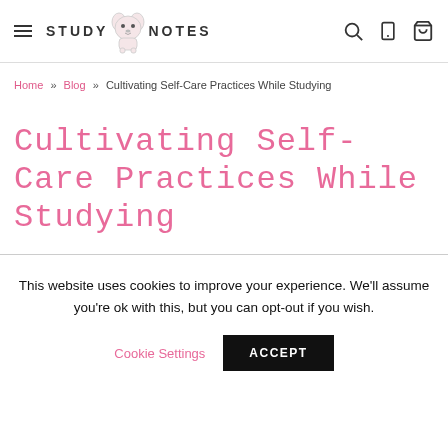STUDY NOTES — navigation header with hamburger menu, logo, search, mobile, and cart icons
Home » Blog » Cultivating Self-Care Practices While Studying
Cultivating Self-Care Practices While Studying
This website uses cookies to improve your experience. We'll assume you're ok with this, but you can opt-out if you wish.
Cookie Settings  ACCEPT